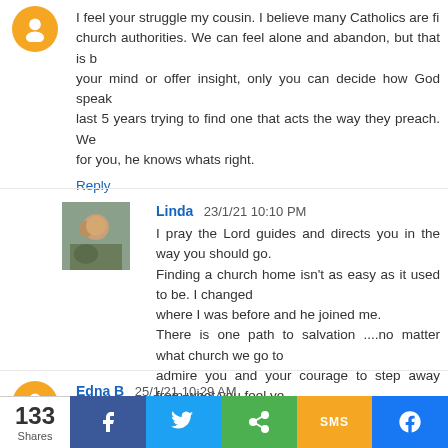I feel your struggle my cousin. I believe many Catholics are fighting with church authorities. We can feel alone and abandon, but that is b... your mind or offer insight, only you can decide how God speaks to you. last 5 years trying to find one that acts the way they preach. We... for you, he knows whats right.
Reply
Linda 23/1/21 10:10 PM
I pray the Lord guides and directs you in the way you should go. Finding a church home isn't as easy as it used to be. I changed... where I was before and he joined me. There is one path to salvation ....no matter what church we go to... admire you and your courage to step away from what you feel ye...
Reply
Edna B 25/1/21 10:29 AM
I am not catholic, but you need to be comfortable with your b...
133 Shares